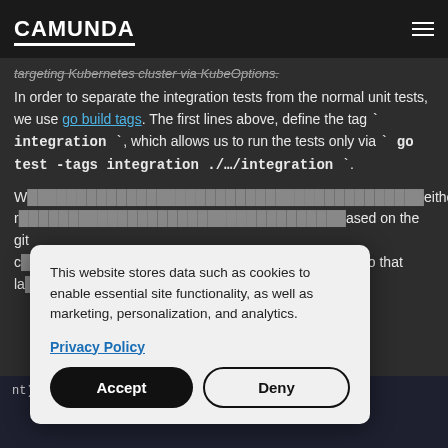CAMUNDA
targeting Kubernetes cluster via KubeOptions.
In order to separate the integration tests from the normal unit tests, we use go build tags. The first lines above, define the tag `integration`, which allows us to run the tests only via `go test -tags integration ./…/integration`.
W... either r... based on the git c... get to that la...
[Figure (screenshot): Cookie consent overlay dialog with Privacy Policy link, Accept and Deny buttons]
...nt) string {